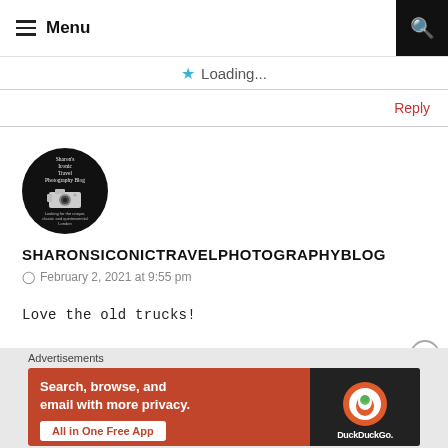Menu
Loading...
Reply
[Figure (logo): Sharon's Iconic Travel Photography Blog circular logo with camera icon on black background]
SHARONSICONICTRAVELPHOTOGRAPHYBLOG
February 2, 2021 at 9:55 pm
Love the old trucks!
[Figure (screenshot): DuckDuckGo advertisement banner: Search, browse, and email with more privacy. All in One Free App. Shows a phone with DuckDuckGo logo on orange/red background.]